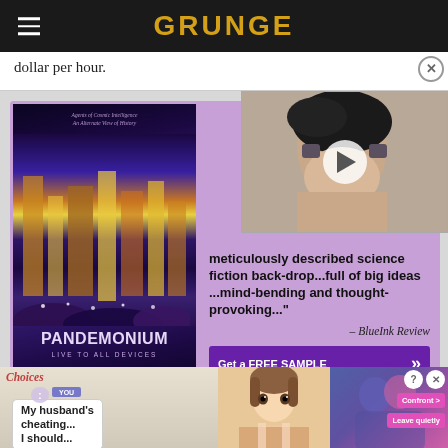GRUNGE
dollar per hour.
[Figure (photo): Advertisement for book 'Pandemonium: Live to All Devices' by Bill Harvey, with a review quote from BlueInk Review and a 'Get a FREE SAMPLE' button, alongside a video thumbnail of a person.]
meticulously described science fiction backdrop...full of big ideas ...mind-bending and thought-provoking..." – BlueInk Review
[Figure (advertisement): Mobile game advertisement showing an anime-style scenario with text 'My husband's cheating... I should...' with choice buttons 'Confront' and 'Leave quietly']